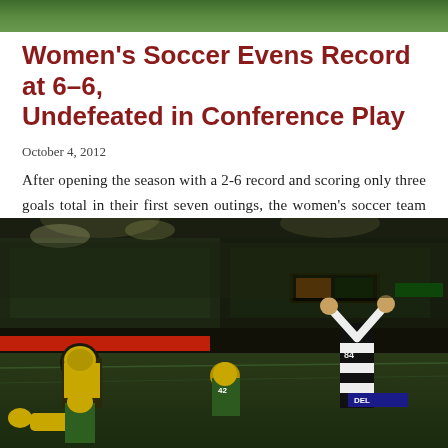[Figure (photo): Green strip banner at top of page]
Women's Soccer Evens Record at 6–6, Undefeated in Conference Play
October 4, 2012
After opening the season with a 2-6 record and scoring only three goals total in their first seven outings, the women's soccer team looked like it might be in some serious season-long trouble. In the…
[Figure (photo): Night football game photo showing Green Bay Packers players and a referee with arms raised signaling a touchdown, in a packed stadium]